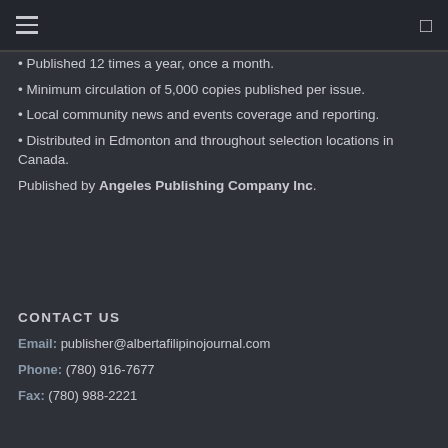navigation header with hamburger menu and search icon
Published 12 times a year, once a month.
Minimum circulation of 5,000 copies published per issue.
Local community news and events coverage and reporting.
Distributed in Edmonton and throughout selection locations in Canada.
Published by Angeles Publishing Company Inc.
CONTACT US
Email: publisher@albertafilipinojournal.com
Phone: (780) 916-7677
Fax: (780) 988-2221